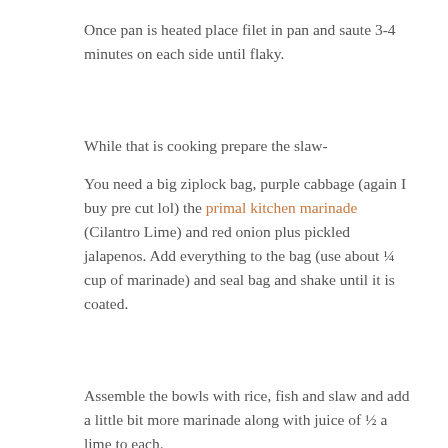Once pan is heated place filet in pan and saute 3-4 minutes on each side until flaky.
While that is cooking prepare the slaw-
You need a big ziplock bag, purple cabbage (again I buy pre cut lol) the primal kitchen marinade (Cilantro Lime) and red onion plus pickled jalapenos. Add everything to the bag (use about ¼ cup of marinade) and seal bag and shake until it is coated.
Assemble the bowls with rice, fish and slaw and add a little bit more marinade along with juice of ½ a lime to each.